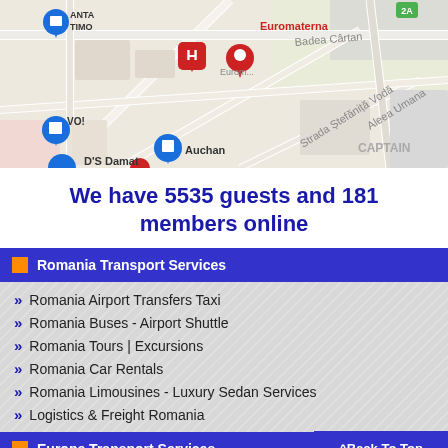[Figure (map): Google Maps screenshot showing Constanta, Romania area with pins for Transport Constanta - Airport Transfers, Euromaterna, Auchan, D'S Damat, and other locations. Streets visible include Strada Stefanita Voda, Aleea Umana, Badea Cartan. Neighborhood label CAPTAIN visible.]
We have 5535 guests and 181 members online
Romania Transport Services
Romania Airport Transfers Taxi
Romania Buses - Airport Shuttle
Romania Tours | Excursions
Romania Car Rentals
Romania Limousines - Luxury Sedan Services
Logistics & Freight Romania
Europe Transport Services
Europe Airport Transfers